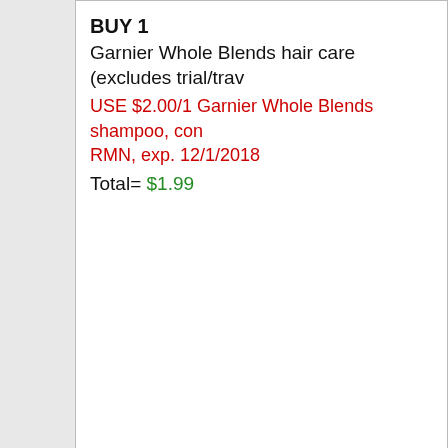BUY 1
Garnier Whole Blends hair care (excludes trial/trav...
USE $2.00/1 Garnier Whole Blends shampoo, con... RMN, exp. 12/1/2018
Total= $1.99
[Figure (photo): Coupon image showing $1 Send to card offer for Select Crest Pro-Health, 3D White or Complete toothpaste (excludes multipacks), with BUY 2 GET $3 ExtraBucks Rewards panel and Crest product images]